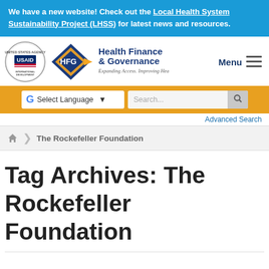We have a new website! Check out the Local Health System Sustainability Project (LHSS) for latest news and resources.
[Figure (logo): USAID United States Agency for International Development circular seal logo and Health Finance & Governance HFG logo with tagline Expanding Access. Improving Health.]
Menu
Select Language | Advanced Search
Advanced Search
The Rockefeller Foundation
Tag Archives: The Rockefeller Foundation